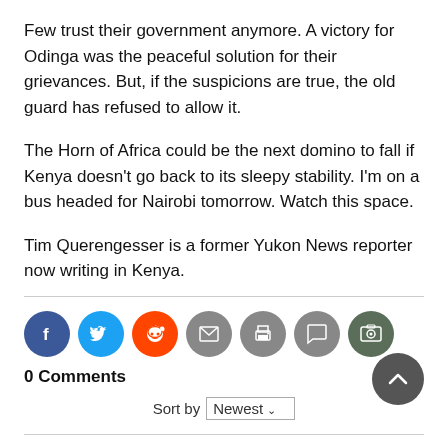Few trust their government anymore. A victory for Odinga was the peaceful solution for their grievances. But, if the suspicions are true, the old guard has refused to allow it.
The Horn of Africa could be the next domino to fall if Kenya doesn’t go back to its sleepy stability. I’m on a bus headed for Nairobi tomorrow. Watch this space.
Tim Querengesser is a former Yukon News reporter now writing in Kenya.
[Figure (infographic): Social share buttons row: Facebook (blue circle), Twitter (light blue circle), Reddit (orange circle), Email (grey circle), Print (grey circle), Comment (grey circle), Photo (dark green circle)]
0 Comments
Sort by Newest